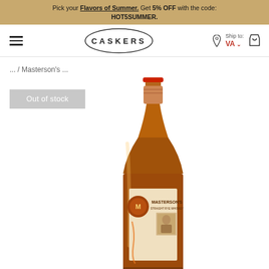Pick your Flavors of Summer. Get 5% OFF with the code: HOT5SUMMER.
CASKERS — Ship to: VA
... / Masterson's ...
Out of stock
[Figure (photo): A bottle of Masterson's Straight Rye Whiskey with an amber/brown color, a label showing the Masterson's brand name and a portrait of a person in period clothing. The bottle has a barrel-finished appearance with orange/brown tones.]